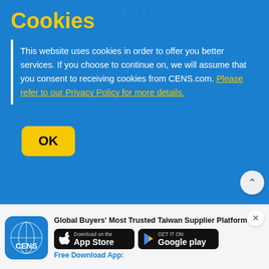Cookies
This website uses cookies in order to offer you better services. If you choose to continue on, we will assume that you consent to receiving cookies from CENS.com. Please refer to our Privacy Policy for more details.
OK
My CENS
Join Free Now
Registration
Account Management
Log in
Inquiry Cart
Help
FAQ
Contact Us
Site Map
Privacy Policy
Global Buyers' Most Trusted Taiwan Supplier Platform
[Figure (screenshot): CENS app icon with globe graphic]
[Figure (screenshot): Download on the App Store button]
[Figure (screenshot): Get it on Google Play button]
Free Download App: